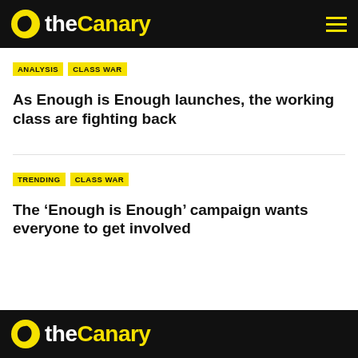theCanary
ANALYSIS  CLASS WAR
As Enough is Enough launches, the working class are fighting back
TRENDING  CLASS WAR
The ‘Enough is Enough’ campaign wants everyone to get involved
theCanary